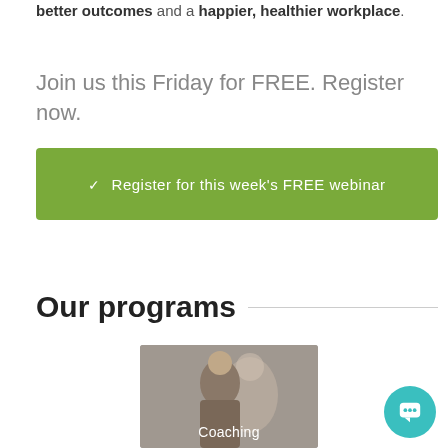better outcomes and a happier, healthier workplace.
Join us this Friday for FREE.  Register now.
✓ Register for this week's FREE webinar
Our programs
[Figure (photo): Photo of a woman with text overlay 'Coaching']
[Figure (other): Teal chat bubble icon in bottom right corner]